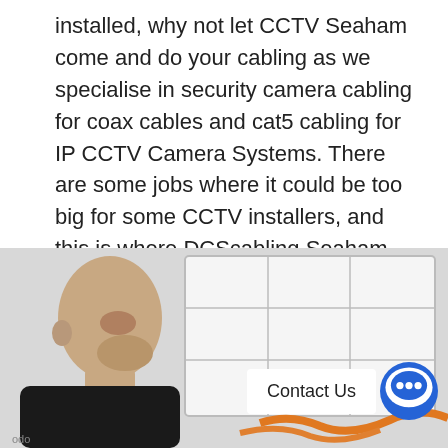installed, why not let CCTV Seaham come and do your cabling as we specialise in security camera cabling for coax cables and cat5 cabling for IP CCTV Camera Systems. There are some jobs where it could be too big for some CCTV installers, and this is where DCScabling Seaham could help you. Learn more about CCTV cable installations here.
[Figure (photo): A bald man working on or inspecting a large rectangular panel (possibly a ceiling tile or network panel) with cables visible at the bottom. A 'Contact Us' button with a chat icon is overlaid in the bottom right.]